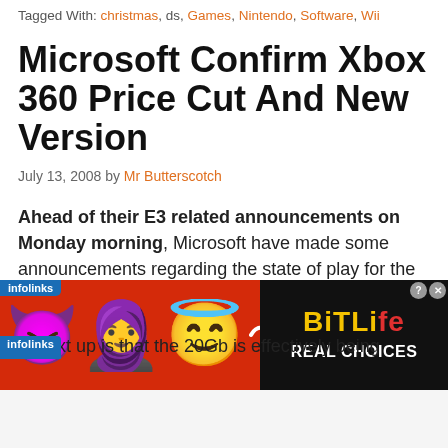Tagged With: christmas, ds, Games, Nintendo, Software, Wii
Microsoft Confirm Xbox 360 Price Cut And New Version
July 13, 2008 by Mr Butterscotch
Ahead of their E3 related announcements on Monday morning, Microsoft have made some announcements regarding the state of play for the Xbox 360. First up, there's a discount of the 20Gb version by $50 (no discount on the Arcade or Elite). Next up is that the 20Gb is effectively being
[Figure (screenshot): Advertisement banner for BitLife game featuring emoji characters on a red background with 'REAL CHOICES' text]